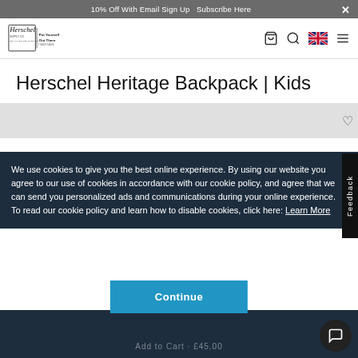10% Off With Email Sign Up Subscribe Here ×
[Figure (logo): Herschel Supply Co. logo with tagline 'Put Yourself Out There' and navigation icons including bag, search, UK flag, and menu.]
Herschel Heritage Backpack | Kids
[Figure (screenshot): Dark blue page background with partial product image area and Feedback tab on right side.]
We use cookies to give you the best online experience. By using our website you agree to our use of cookies in accordance with our cookie policy, and agree that we can send you personalized ads and communications during your online experience. To read our cookie policy and learn how to disable cookies, click here: Learn More
Continue
Add to Cart · £45.00